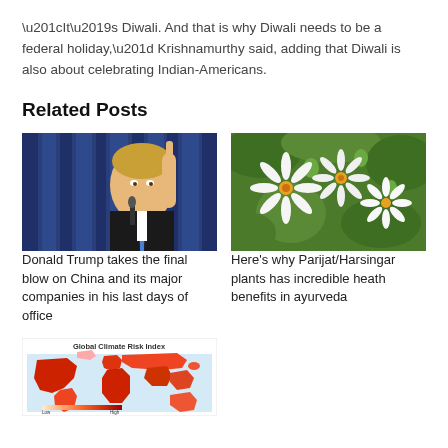“It’s Diwali. And that is why Diwali needs to be a federal holiday,” Krishnamurthy said, adding that Diwali is also about celebrating Indian-Americans.
Related Posts
[Figure (photo): Man in suit pointing finger upward at a press conference with blue curtain background]
Donald Trump takes the final blow on China and its major companies in his last days of office
[Figure (photo): Close-up of white star-shaped flowers with green foliage and red centers (Parijat/Harsingar plant)]
Here’s why Parijat/Harsingar plants has incredible heath benefits in ayurveda
[Figure (map): Global Climate Risk Index map showing world map with red-colored regions indicating high climate risk]